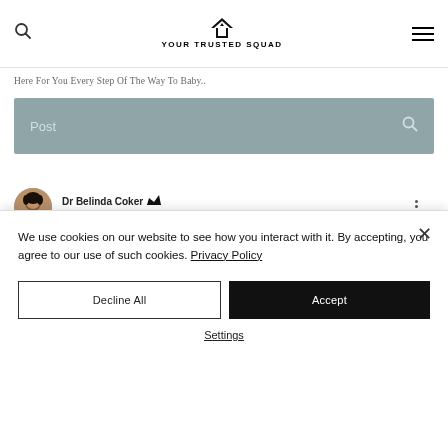YOUR TRUSTED SQUAD
Here For You Every Step Of The Way To Baby..
[Figure (screenshot): Search bar with gray/teal background and 'Post' placeholder text and search icon]
Dr Belinda Coker · Nov 24, 2021 · 5 min
What's The Difference
We use cookies on our website to see how you interact with it. By accepting, you agree to our use of such cookies. Privacy Policy
Decline All
Accept
Settings